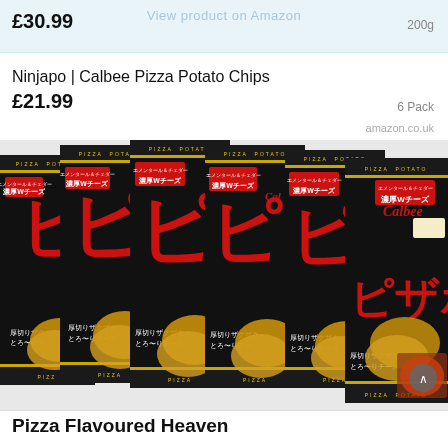£30.99
200g
Ninjapo | Calbee Pizza Potato Chips
£21.99
6 Pack
amazon.co.uk
[Figure (photo): Six boxes of Calbee Pizza Potato chips arranged in a fan/stack pattern showing Japanese packaging with black background, red katakana characters, and potato chip imagery]
Pizza Flavoured Heaven